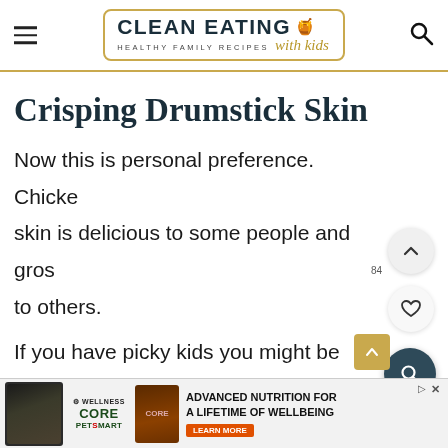CLEAN EATING with kids — HEALTHY FAMILY RECIPES
Crisping Drumstick Skin
Now this is personal preference. Chicken skin is delicious to some people and gross to others.
If you have picky kids you might be famili...
[Figure (other): Ad banner: Wellness Core PetSmart dog food advertisement — ADVANCED NUTRITION FOR A LIFETIME OF WELLBEING — LEARN MORE button]